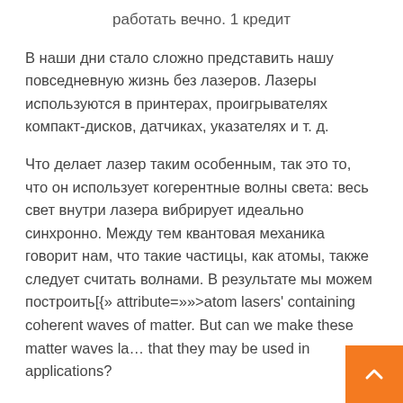работать вечно. 1 кредит
В наши дни стало сложно представить нашу повседневную жизнь без лазеров. Лазеры используются в принтерах, проигрывателях компакт-дисков, датчиках, указателях и т. д.
Что делает лазер таким особенным, так это то, что он использует когерентные волны света: весь свет внутри лазера вибрирует идеально синхронно. Между тем квантовая механика говорит нам, что такие частицы, как атомы, также следует считать волнами. В результате мы можем построить[{» attribute=»»>atom lasers' containing coherent waves of matter. But can we make these matter waves la… that they may be used in applications?
In research that was published in the journal Nature on